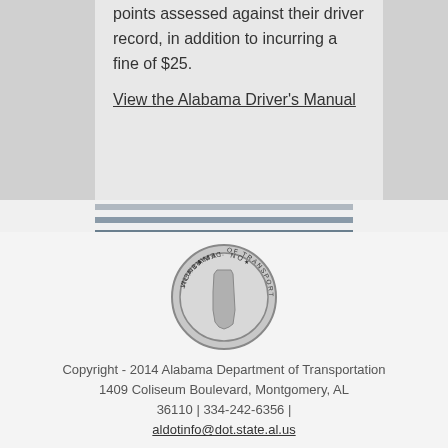points assessed against their driver record, in addition to incurring a fine of $25.
View the Alabama Driver's Manual
[Figure (logo): Alabama Department of Transportation circular seal with state outline in center]
Copyright - 2014 Alabama Department of Transportation
1409 Coliseum Boulevard, Montgomery, AL 36110 | 334-242-6356 | aldotinfo@dot.state.al.us